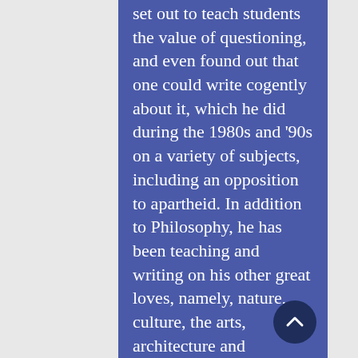set out to teach students the value of questioning, and even found out that one could write cogently about it, which he did during the 1980s and '90s on a variety of subjects, including an opposition to apartheid. In addition to Philosophy, he has been teaching and writing on his other great loves, namely, nature, culture, the arts, architecture and literature. In the face of the many irrational actions on the part of people, and wanting to understand these, later on he branched out into Psychology, in order to